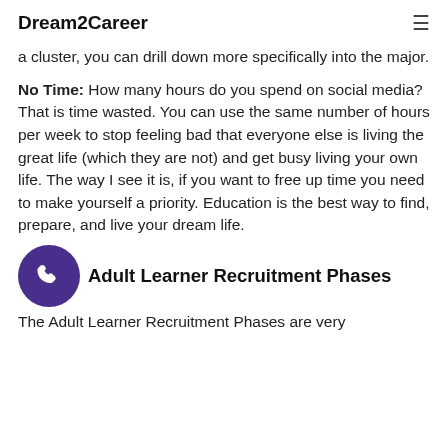Dream2Career
a cluster, you can drill down more specifically into the major.
No Time: How many hours do you spend on social media? That is time wasted. You can use the same number of hours per week to stop feeling bad that everyone else is living the great life (which they are not) and get busy living your own life. The way I see it is, if you want to free up time you need to make yourself a priority. Education is the best way to find, prepare, and live your dream life.
Adult Learner Recruitment Phases
The Adult Learner Recruitment Phases are very